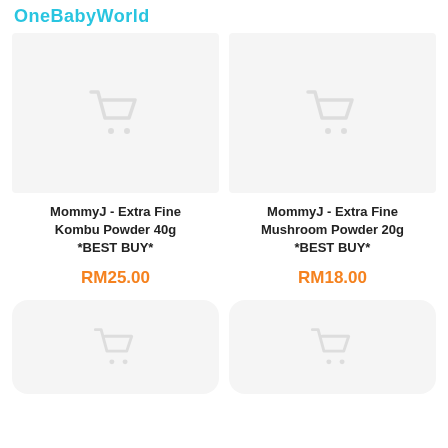OneBabyWorld
[Figure (photo): Product image placeholder with shopping cart icon for MommyJ Extra Fine Kombu Powder 40g]
[Figure (photo): Product image placeholder with shopping cart icon for MommyJ Extra Fine Mushroom Powder 20g]
MommyJ - Extra Fine Kombu Powder 40g *BEST BUY*
MommyJ - Extra Fine Mushroom Powder 20g *BEST BUY*
RM25.00
RM18.00
[Figure (photo): Product image placeholder with shopping cart icon (bottom left, partially visible)]
[Figure (photo): Product image placeholder with shopping cart icon (bottom right, partially visible)]